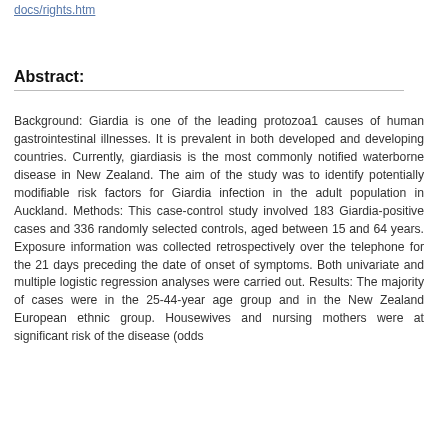docs/rights.htm
Abstract:
Background: Giardia is one of the leading protozoa1 causes of human gastrointestinal illnesses. It is prevalent in both developed and developing countries. Currently, giardiasis is the most commonly notified waterborne disease in New Zealand. The aim of the study was to identify potentially modifiable risk factors for Giardia infection in the adult population in Auckland. Methods: This case-control study involved 183 Giardia-positive cases and 336 randomly selected controls, aged between 15 and 64 years. Exposure information was collected retrospectively over the telephone for the 21 days preceding the date of onset of symptoms. Both univariate and multiple logistic regression analyses were carried out. Results: The majority of cases were in the 25-44-year age group and in the New Zealand European ethnic group. Housewives and nursing mothers were at significant risk of the disease (odds